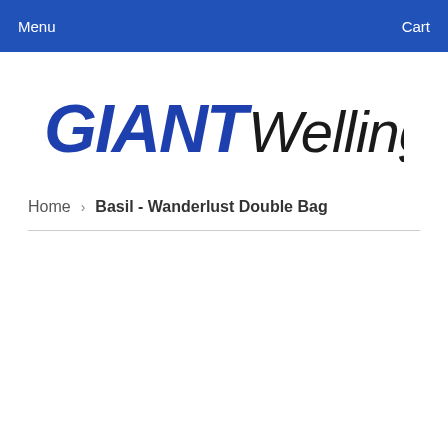Menu   Cart
[Figure (logo): Giant Wellington logo — 'GIANT' in bold italic dark blue, 'Wellington' in regular italic dark text]
Home  ›  Basil - Wanderlust Double Bag